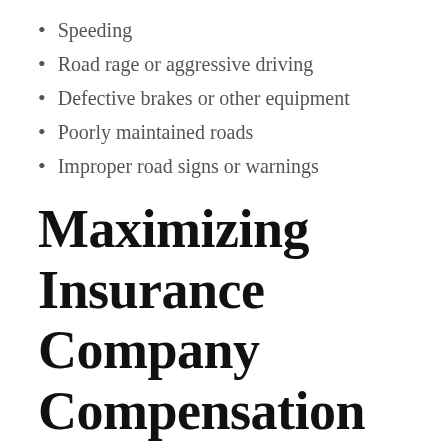Speeding
Road rage or aggressive driving
Defective brakes or other equipment
Poorly maintained roads
Improper road signs or warnings
Maximizing Insurance Company Compensation
Understanding what compensation insurance companies might pay can be confusing. We want to help you understand.
When people are injured in car accidents, medical coverage is the top priority. In